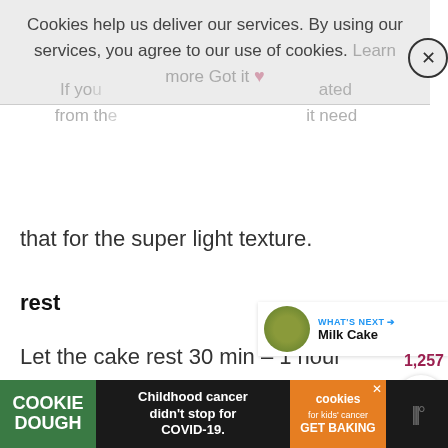that for the super light texture.
rest
Let the cake rest 30 min – 1 hour after pouring the syrup so it can absorb every drop.
It actually tastes much better with soaking
bake